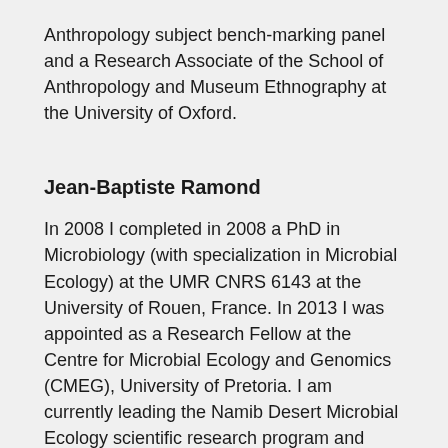Anthropology subject bench-marking panel and a Research Associate of the School of Anthropology and Museum Ethnography at the University of Oxford.
Jean-Baptiste Ramond
In 2008 I completed in 2008 a PhD in Microbiology (with specialization in Microbial Ecology) at the UMR CNRS 6143 at the University of Rouen, France. In 2013 I was appointed as a Research Fellow at the Centre for Microbial Ecology and Genomics (CMEG), University of Pretoria. I am currently leading the Namib Desert Microbial Ecology scientific research program and intend to apply my analytical skills (specifically those pertaining to sediments) to the analyses of